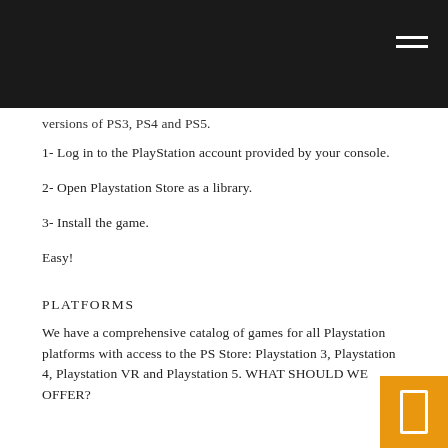versions of PS3, PS4 and PS5.
1- Log in to the PlayStation account provided by your console.
2- Open Playstation Store as a library.
3- Install the game.
Easy!
PLATFORMS
We have a comprehensive catalog of games for all Playstation platforms with access to the PS Store: Playstation 3, Playstation 4, Playstation VR and Playstation 5. WHAT SHOULD WE OFFER?